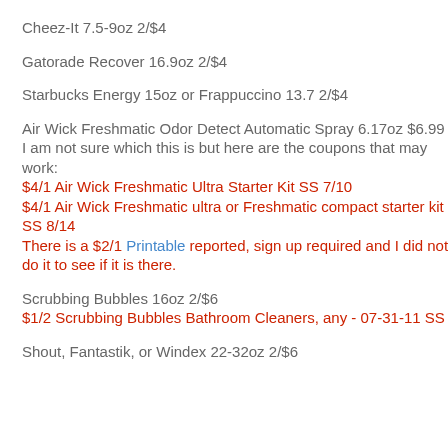Cheez-It 7.5-9oz 2/$4
Gatorade Recover 16.9oz 2/$4
Starbucks Energy 15oz or Frappuccino 13.7 2/$4
Air Wick Freshmatic Odor Detect Automatic Spray 6.17oz $6.99
I am not sure which this is but here are the coupons that may work:
$4/1 Air Wick Freshmatic Ultra Starter Kit SS 7/10
$4/1 Air Wick Freshmatic ultra or Freshmatic compact starter kit SS 8/14
There is a $2/1 Printable reported, sign up required and I did not do it to see if it is there.
Scrubbing Bubbles 16oz 2/$6
$1/2 Scrubbing Bubbles Bathroom Cleaners, any - 07-31-11 SS
Shout, Fantastik, or Windex 22-32oz 2/$6